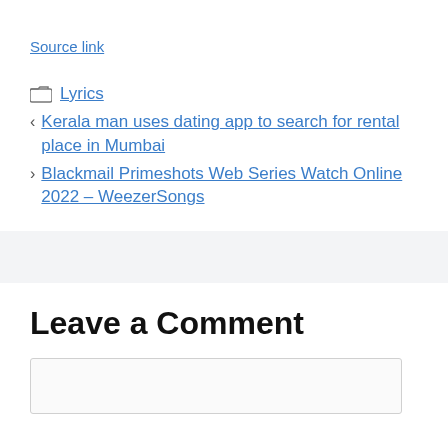Source link
Lyrics
‹ Kerala man uses dating app to search for rental place in Mumbai
› Blackmail Primeshots Web Series Watch Online 2022 – WeezerSongs
Leave a Comment